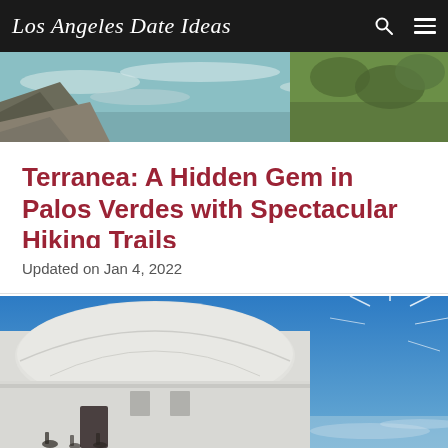Los Angeles Date Ideas
[Figure (photo): Aerial coastal photo showing rocky cliffs with ocean waves and green hillside vegetation]
Terranea: A Hidden Gem in Palos Verdes with Spectacular Hiking Trails
Updated on Jan 4, 2022
[Figure (photo): White observatory building dome against a bright blue sky with the sun visible and small figures of people near the base]